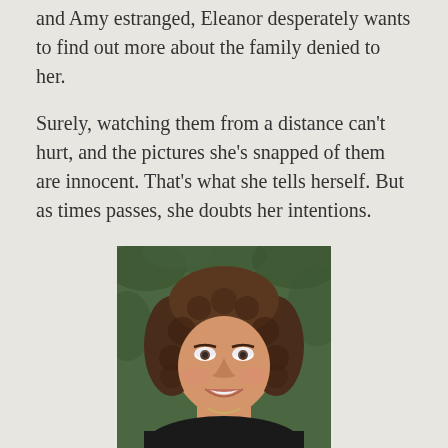and Amy estranged, Eleanor desperately wants to find out more about the family denied to her.
Surely, watching them from a distance can't hurt, and the pictures she's snapped of them are innocent. That's what she tells herself. But as times passes, she doubts her intentions.
[Figure (photo): Portrait photograph of a woman with curly brown hair, smiling, wearing a dark top with a necklace, against a green leafy background.]